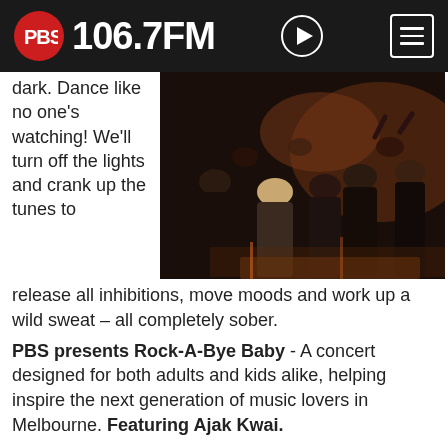PBS 106.7FM
dark. Dance like no one's watching! We'll turn off the lights and crank up the tunes to release all inhibitions, move moods and work up a wild sweat – all completely sober.
[Figure (photo): Crowd of people dancing in a dimly lit venue, viewed from behind, with warm stage lighting.]
PBS presents Rock-A-Bye Baby - A concert designed for both adults and kids alike, helping inspire the next generation of music lovers in Melbourne. Featuring Ajak Kwai.
Bring it Home – A special musical event for older people, featuring some extraordinary musicians including Wilbur Wilde and Alison Ferrier plus special guests Robyn Archer, Valanga Khoza, Derek Guille and the Ugly Uncles, Crossing the Bridge Choir and Maggie Beer.